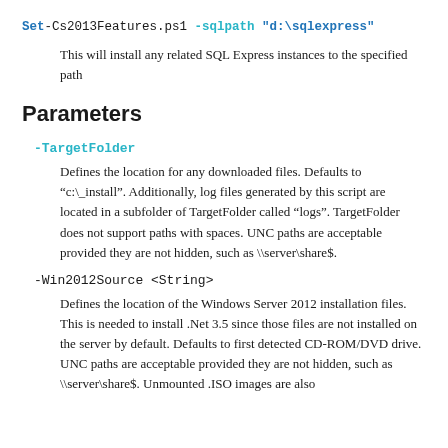Set-Cs2013Features.ps1 -sqlpath "d:\sqlexpress"
This will install any related SQL Express instances to the specified path
Parameters
-TargetFolder
Defines the location for any downloaded files. Defaults to “c:\_install”. Additionally, log files generated by this script are located in a subfolder of TargetFolder called “logs”. TargetFolder does not support paths with spaces. UNC paths are acceptable provided they are not hidden, such as \\server\share$.
-Win2012Source <String>
Defines the location of the Windows Server 2012 installation files. This is needed to install .Net 3.5 since those files are not installed on the server by default. Defaults to first detected CD-ROM/DVD drive. UNC paths are acceptable provided they are not hidden, such as \\server\share$. Unmounted .ISO images are also